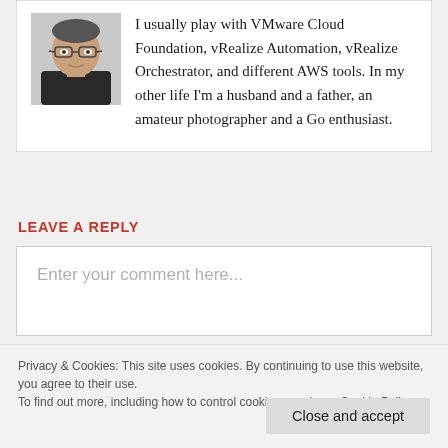[Figure (photo): Author headshot photo - middle-aged man with glasses]
I usually play with VMware Cloud Foundation, vRealize Automation, vRealize Orchestrator, and different AWS tools. In my other life I'm a husband and a father, an amateur photographer and a Go enthusiast.
LEAVE A REPLY
Enter your comment here...
Privacy & Cookies: This site uses cookies. By continuing to use this website, you agree to their use.
To find out more, including how to control cookies, see here: Cookie Policy
Close and accept